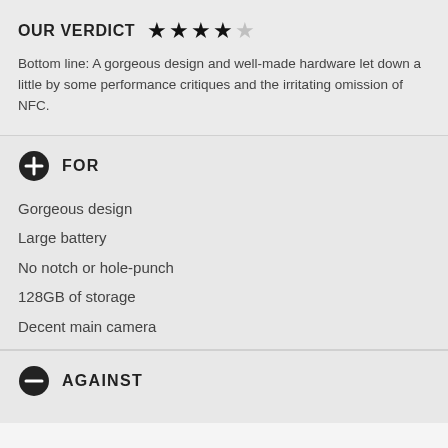OUR VERDICT ★★★½☆
Bottom line: A gorgeous design and well-made hardware let down a little by some performance critiques and the irritating omission of NFC.
FOR
Gorgeous design
Large battery
No notch or hole-punch
128GB of storage
Decent main camera
AGAINST